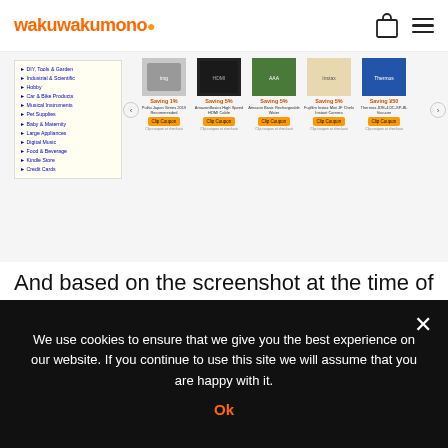wakuwakumono
[Figure (screenshot): Screenshot of an Amazon-like e-commerce page showing a sidebar with category links (DIY Tools & Garden, Industrial & Scientific, Hobby, Car & Bike Products, Musical Instruments, Pet Supplies, Baby & Maternity, Large Appliances, Digital Music, Food & Beverage, Kindle Store, Credit Cards) and product cards showing savings (1%, 5%, 5%, 5%, ¥50) with Clip Coupon buttons. Products include Pulito Japan Series 2019 Recommended, AmazonBasics High Speed HDMI Cable, Amazon Basic Rechargeable Water, Fujifilm Instax Mini JF Cheki Instant Camera, Thermos JDE-4.0C-SP-BL Vacuum.]
And based on the screenshot at the time of this article, you see the following results below. I want to purchase the Megami Device Magical Baselard Plastic Model.
We use cookies to ensure that we give you the best experience on our website. If you continue to use this site we will assume that you are happy with it.
Ok